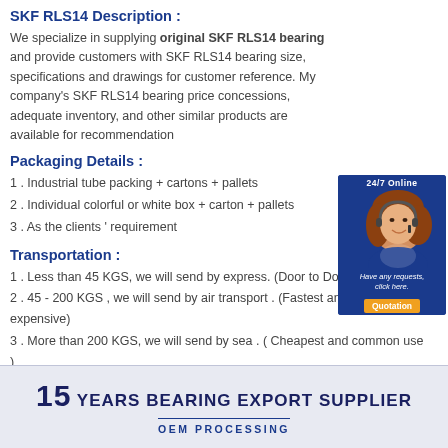SKF RLS14 Description :
We specialize in supplying original SKF RLS14 bearing and provide customers with SKF RLS14 bearing size, specifications and drawings for customer reference. My company's SKF RLS14 bearing price concessions, adequate inventory, and other similar products are available for recommendation
Packaging Details :
1 . Industrial tube packing + cartons + pallets
2 . Individual colorful or white box + carton + pallets
3 . As the clients ' requirement
[Figure (photo): Customer service representative with headset, 24/7 Online banner, with Quotation button]
Transportation :
1 . Less than 45 KGS, we will send by express. (Door to Door, Convenient)
2 . 45 - 200 KGS , we will send by air transport . (Fastest and safest, but expensive)
3 . More than 200 KGS, we will send by sea . ( Cheapest and common use )
[Figure (infographic): 15 YEARS BEARING EXPORT SUPPLIER banner with OEM PROCESSING subtitle on light blue background]